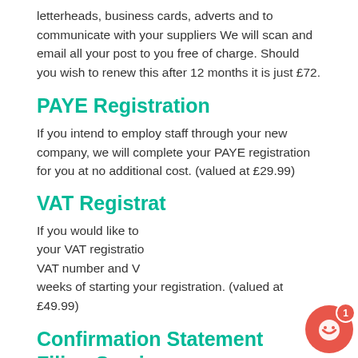letterheads, business cards, adverts and to communicate with your suppliers We will scan and email all your post to you free of charge. Should you wish to renew this after 12 months it is just £72.
PAYE Registration
If you intend to employ staff through your new company, we will complete your PAYE registration for you at no additional cost. (valued at £29.99)
VAT Registra
If you would like to your VAT registratio VAT number and V weeks of starting your registration. (valued at £49.99)
[Figure (screenshot): Chat popup overlay from ALEXIS from Seed Formatio... showing message: £10 OFF the Non Resident Package •• Form a company in...]
Confirmation Statement Filing Service